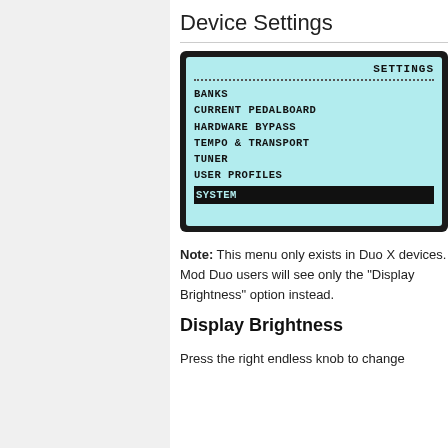Device Settings
[Figure (screenshot): Device screen showing SETTINGS menu with items: BANKS, CURRENT PEDALBOARD, HARDWARE BYPASS, TEMPO & TRANSPORT, TUNER, USER PROFILES, and SYSTEM (selected/highlighted).]
Note: This menu only exists in Duo X devices. Mod Duo users will see only the "Display Brightness" option instead.
Display Brightness
Press the right endless knob to change